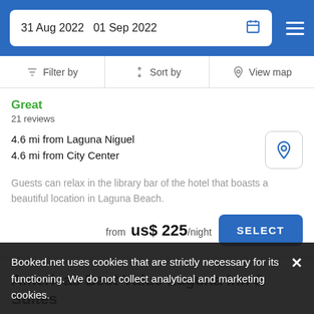31 Aug 2022  01 Sep 2022
Filter by  |  Sort by  |  View map
Great
21 reviews
4.6 mi from Laguna Niguel
4.6 mi from City Center
Guests can relax in the library bar of the hotel that boasts a beautiful location in Laguna Beach.
from  us$ 225/night
Americas Best Value Laguna Inn & Suites
Hotel ★★
Booked.net uses cookies that are strictly necessary for its functioning. We do not collect analytical and marketing cookies.